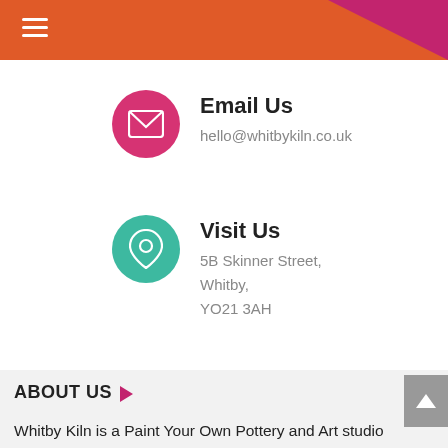Navigation header bar with hamburger menu
Email Us
hello@whitbykiln.co.uk
Visit Us
5B Skinner Street, Whitby, YO21 3AH
ABOUT US
Whitby Kiln is a Paint Your Own Pottery and Art studio situated in the beautiful seaside town of Whitby, North Yorkshire and close to the North York Moors. We offer a fun and relaxing space to express your creativity regardless of ability or age, on your own or with others.